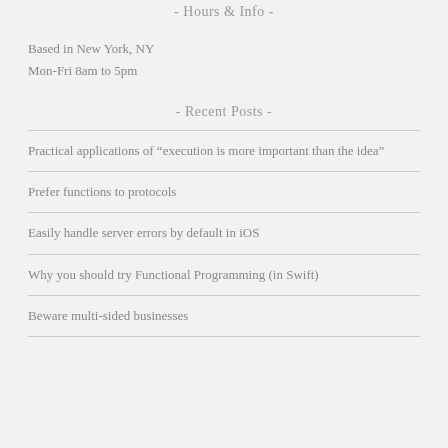- Hours & Info -
Based in New York, NY
Mon-Fri 8am to 5pm
- Recent Posts -
Practical applications of “execution is more important than the idea”
Prefer functions to protocols
Easily handle server errors by default in iOS
Why you should try Functional Programming (in Swift)
Beware multi-sided businesses